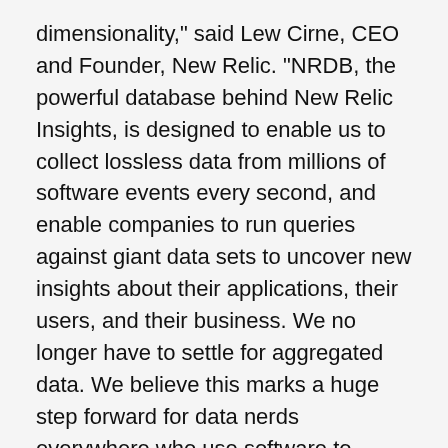dimensionality," said Lew Cirne, CEO and Founder, New Relic. "NRDB, the powerful database behind New Relic Insights, is designed to enable us to collect lossless data from millions of software events every second, and enable companies to run queries against giant data sets to uncover new insights about their applications, their users, and their business. We no longer have to settle for aggregated data. We believe this marks a huge step forward for data nerds everywhere who use software to power their business."
New capabilities and offerings announced today include:
Eight days of event data enabling